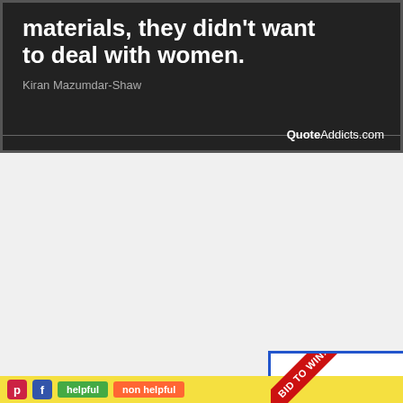[Figure (screenshot): Dark quote banner with white bold text reading 'materials, they didn't want to deal with women.' attributed to Kiran Mazumdar-Shaw, with QuoteAddicts.com logo at bottom right.]
[Figure (infographic): Advertisement with blue border. Red ribbon banner says 'BID TO WIN!'. Text reads 'ZOOM w/ BEST-SELLING AUTHOR MAX BRAILLER'. Photo of a young man in a blue denim shirt. Caption: 'Meet him with your school, school district, or writer's group! Proceeds benefit TABC Book Drop (Writer's Cubed, a 501c3).' Close X button top right.]
[Figure (screenshot): Bottom yellow bar with Pinterest icon, Facebook icon, green 'helpful' button, and orange 'non helpful' button.]